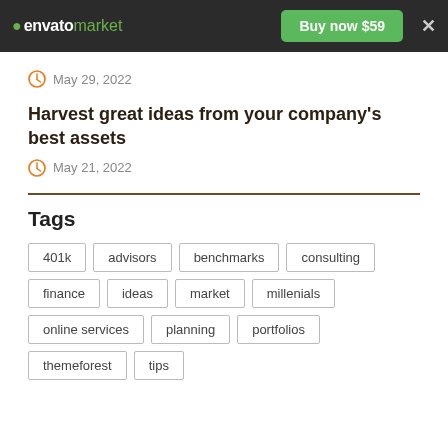envato market — Buy now $59
May 29, 2022
Harvest great ideas from your company's best assets
May 21, 2022
Tags
401k
advisors
benchmarks
consulting
finance
ideas
market
millenials
online services
planning
portfolios
themeforest
tips